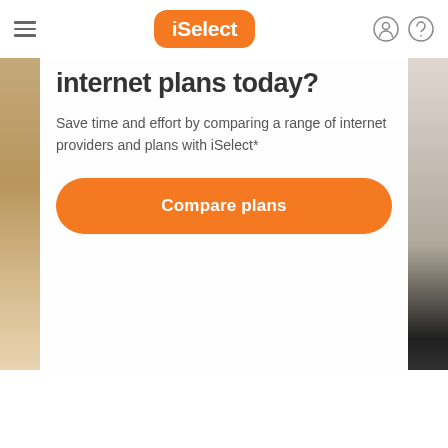iSelect
internet plans today?
Save time and effort by comparing a range of internet providers and plans with iSelect*
Compare plans